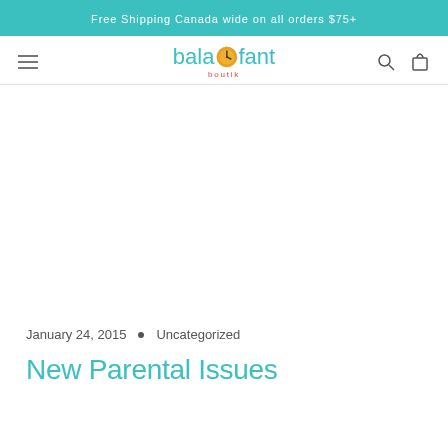Free Shipping Canada wide on all orders $75+
[Figure (logo): Balafant Boutik logo with teal text and clock icon replacing the 'o' in 'bala', and 'boutik' in smaller red text below]
January 24, 2015  •  Uncategorized
New Parental Issues